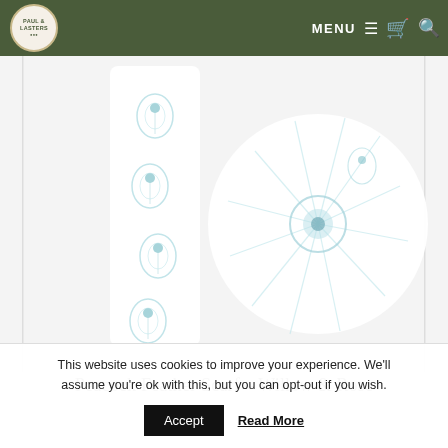[Figure (screenshot): Website navigation bar with circular logo reading 'Paul & Laters', MENU text with hamburger icon, cart icon, and search icon on dark olive/green background]
[Figure (photo): Product photo showing a peacock feather patterned scarf (long strip on left) and a circular close-up detail of the fabric on a white background. The pattern features soft teal/blue peacock feather motifs on white fabric.]
Peacock Feather Scarf – Willow & Rose
This website uses cookies to improve your experience. We'll assume you're ok with this, but you can opt-out if you wish.
Accept
Read More